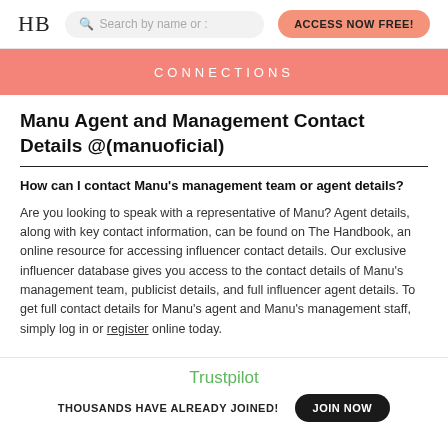HB | Search by name or : | ACCESS NOW FREE!
CONNECTIONS
Manu Agent and Management Contact Details @(manuoficial)
How can I contact Manu's management team or agent details?
Are you looking to speak with a representative of Manu? Agent details, along with key contact information, can be found on The Handbook, an online resource for accessing influencer contact details. Our exclusive influencer database gives you access to the contact details of Manu's management team, publicist details, and full influencer agent details. To get full contact details for Manu's agent and Manu's management staff, simply log in or register online today.
Trustpilot
THOUSANDS HAVE ALREADY JOINED! | JOIN NOW